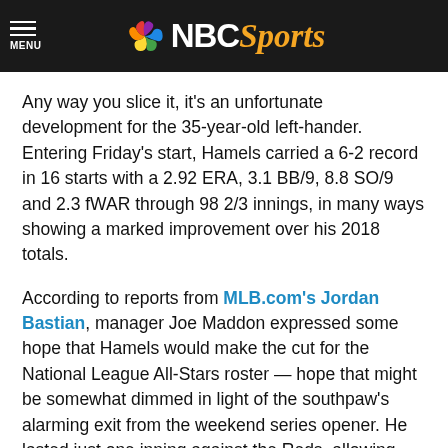NBC Sports
Any way you slice it, it's an unfortunate development for the 35-year-old left-hander. Entering Friday's start, Hamels carried a 6-2 record in 16 starts with a 2.92 ERA, 3.1 BB/9, 8.8 SO/9 and 2.3 fWAR through 98 2/3 innings, in many ways showing a marked improvement over his 2018 totals.
According to reports from MLB.com's Jordan Bastian, manager Joe Maddon expressed some hope that Hamels would make the cut for the National League All-Stars roster — hope that might be somewhat dimmed in light of the southpaw's alarming exit from the weekend series opener. He lasted just one inning against the Reds, allowing singles to Joey Votto and Yasiel Puig and walking Eugenio Suárez on seven pitches. He threw 22 total pitches and was in the process of warming up for